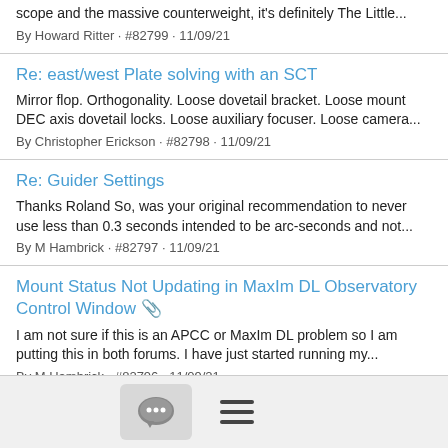scope and the massive counterweight, it's definitely The Little...
By Howard Ritter · #82799 · 11/09/21
Re: east/west Plate solving with an SCT
Mirror flop. Orthogonality. Loose dovetail bracket. Loose mount DEC axis dovetail locks. Loose auxiliary focuser. Loose camera...
By Christopher Erickson · #82798 · 11/09/21
Re: Guider Settings
Thanks Roland So, was your original recommendation to never use less than 0.3 seconds intended to be arc-seconds and not...
By M Hambrick · #82797 · 11/09/21
Mount Status Not Updating in MaxIm DL Observatory Control Window 📎
I am not sure if this is an APCC or MaxIm DL problem so I am putting this in both forums. I have just started running my...
By M Hambrick · #82796 · 11/09/21
Re: east/west Plate solving with an SCT (truncated, partially visible)